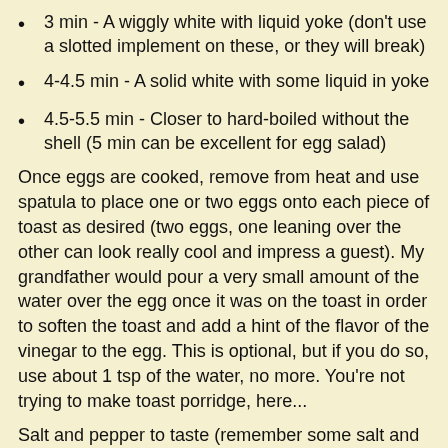3 min - A wiggly white with liquid yoke (don't use a slotted implement on these, or they will break)
4-4.5 min - A solid white with some liquid in yoke
4.5-5.5 min - Closer to hard-boiled without the shell (5 min can be excellent for egg salad)
Once eggs are cooked, remove from heat and use spatula to place one or two eggs onto each piece of toast as desired (two eggs, one leaning over the other can look really cool and impress a guest). My grandfather would pour a very small amount of the water over the egg once it was on the toast in order to soften the toast and add a hint of the flavor of the vinegar to the egg. This is optional, but if you do so, use about 1 tsp of the water, no more. You're not trying to make toast porridge, here...
Salt and pepper to taste (remember some salt and pepper are in the water and have thus flavored the egg already). Serve with a steak or butter knife and fork. I actually use a smaller salad fork for these, but that's your call.
Additional text continues...